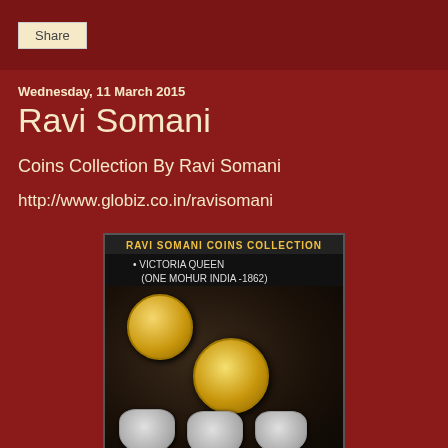Share
Wednesday, 11 March 2015
Ravi Somani
Coins Collection By Ravi Somani
http://www.globiz.co.in/ravisomani
[Figure (photo): Photo of Ravi Somani Coins Collection showing Victoria Queen One Mohur India 1862 gold coins and silver coins on a dark background]